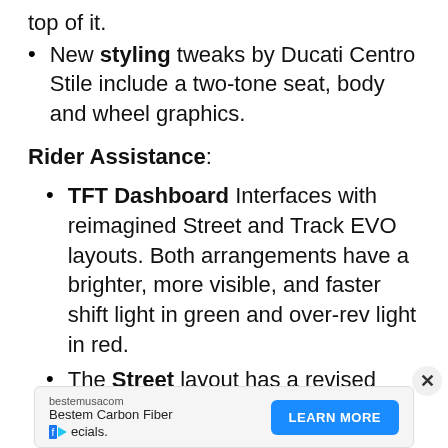top of it.
New styling tweaks by Ducati Centro Stile include a two-tone seat, body and wheel graphics.
Rider Assistance:
TFT Dashboard Interfaces with reimagined Street and Track EVO layouts. Both arrangements have a brighter, more visible, and faster shift light in green and over-rev light in red.
The Street layout has a revised yellow triangle which indicates vehicle control
bestemusacom Bestem Carbon Fiber ecials. LEARN MORE